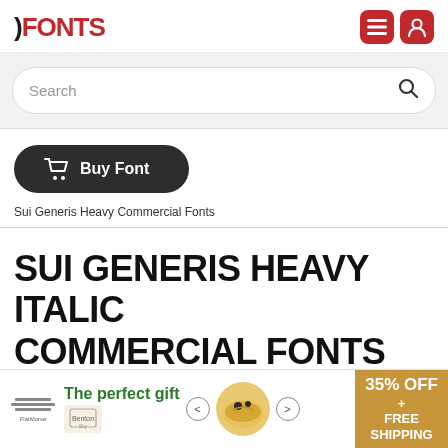FFONTS
Search
Buy Font
Sui Generis Heavy Commercial Fonts
SUI GENERIS HEAVY ITALIC COMMERCIAL FONTS
[Figure (screenshot): Advertisement banner: 'The perfect gift' with food image, navigation arrows, and '35% OFF + FREE SHIPPING' badge]